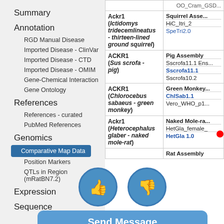Summary
Annotation
RGD Manual Disease
Imported Disease - ClinVar
Imported Disease - CTD
Imported Disease - OMIM
Gene-Chemical Interaction
Gene Ontology
References
References - curated
PubMed References
Genomics
Comparative Map Data
Position Markers
QTLs in Region (mRatBN7.2)
Expression
Sequence
| Gene/Species | Assembly |
| --- | --- |
| OO_Cram_GSD... |  |
| Ackr1 (Ictidomys tridecemlineatus - thirteen-lined ground squirrel) | Squirrel Asse...
HiC_Itri_2
SpeTri2.0 |
| ACKR1 (Sus scrofa - pig) | Pig Assembly
Sscrofa11.1 Ens...
Sscrofa11.1
Sscrofa10.2 |
| ACKR1 (Chlorocebus sabaeus - green monkey) | Green Monkey...
ChlSab1.1
Vero_WHO_p1... |
| Ackr1 (Heterocephalus glaber - naked mole-rat) | Naked Mole-ra...
HetGla_female_
HetGla 1.0 |
|  | Rat Assembly |
[Figure (illustration): Two circular feedback buttons (thumbs up and thumbs down) with blue background, overlaid on Send Message button. A red notification dot appears on the thumbs-down button.]
Send Message
Position Markers